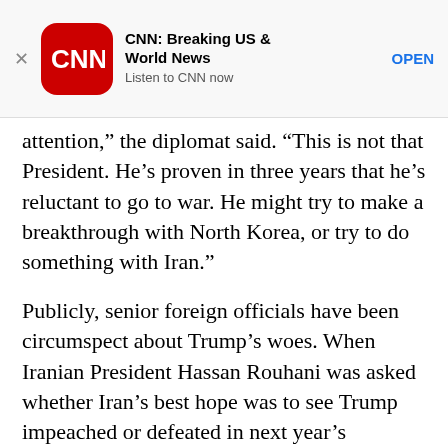[Figure (screenshot): CNN app advertisement banner with CNN logo, title 'CNN: Breaking US & World News', subtitle 'Listen to CNN now', and an OPEN button]
attention,” the diplomat said. “This is not that President. He’s proven in three years that he’s reluctant to go to war. He might try to make a breakthrough with North Korea, or try to do something with Iran.”
Publicly, senior foreign officials have been circumspect about Trump’s woes. When Iranian President Hassan Rouhani was asked whether Iran’s best hope was to see Trump impeached or defeated in next year’s election, he offered a careful response.
“Our best hope is for the United States government to pursue right policies, whomever that person may be heading the executive branch or from whichever